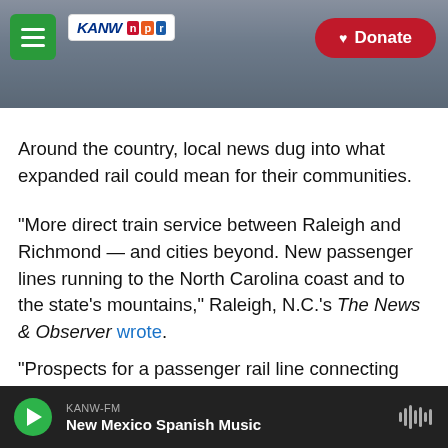[Figure (screenshot): KANW NPR website header with mountain landscape background, green hamburger menu button, KANW NPR logo, and red Donate button]
Around the country, local news dug into what expanded rail could mean for their communities.
"More direct train service between Raleigh and Richmond — and cities beyond. New passenger lines running to the North Carolina coast and to the state's mountains," Raleigh, N.C.'s The News & Observer wrote.
"Prospects for a passenger rail line connecting Baton Rouge and New Orleans got a boost this week," wrote the New Orleans Advocate, noting
KANW-FM  New Mexico Spanish Music